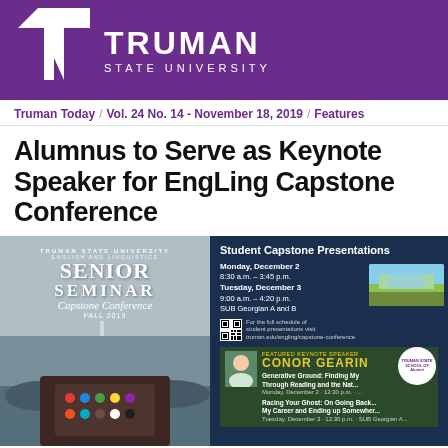[Figure (logo): Truman State University logo with T emblem and university name in white on purple background]
Truman Today / Vol. 24 No. 14 - November 18, 2019 / Features
Alumnus to Serve as Keynote Speaker for EngLing Capstone Conference
[Figure (photo): Left: Photo of hands holding an open watercolor paint palette by rocky coastline. Right: Dark blue flyer for Student Capstone Presentations showing schedule for Monday December 2 (8:30 a.m. - 3:45 p.m.) and Tuesday December 3 (9:00 a.m. - 4:20 p.m.) in SUB Georgian A and B, with a landscape painting thumbnail, QR code, and keynote speaker Conor Gearin information including his talks 'Generative Ground: Finding My Way Through Reading and the Natural World' and 'Racing Your Ghost: On Going Back to My Career and Ending up Somewhere Better'.]